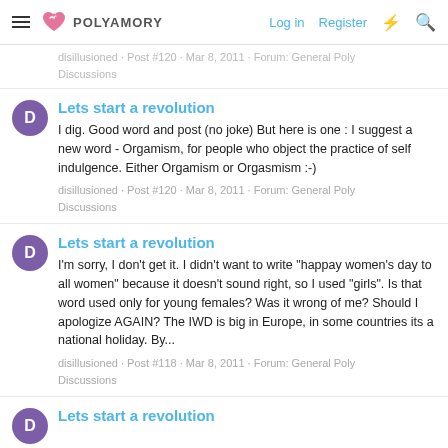POLYAMORY  Log in  Register
disillusioned · Post #120 · Mar 8, 2011 · Forum: General Poly Discussions
Lets start a revolution
I dig. Good word and post (no joke) But here is one : I suggest a new word - Orgamism, for people who object the practice of self indulgence. Either Orgamism or Orgasmism :-)
disillusioned · Post #120 · Mar 8, 2011 · Forum: General Poly Discussions
Lets start a revolution
I'm sorry, I don't get it. I didn't want to write "happay women's day to all women" because it doesn't sound right, so I used "girls". Is that word used only for young females? Was it wrong of me? Should I apologize AGAIN? The IWD is big in Europe, in some countries its a national holiday. By...
disillusioned · Post #118 · Mar 8, 2011 · Forum: General Poly Discussions
Lets start a revolution